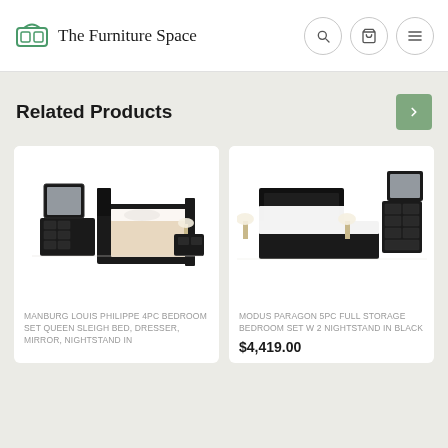The Furniture Space
Related Products
[Figure (photo): Black bedroom set — queen sleigh bed, dresser, mirror, nightstand arrangement on white background]
MANBURG LOUIS PHILIPPE 4PC BEDROOM SET QUEEN SLEIGH BED, DRESSER, MIRROR, NIGHTSTAND IN
[Figure (photo): Black bedroom set — full storage bed with mirror and dresser on white background]
MODUS PARAGON 5PC FULL STORAGE BEDROOM SET W 2 NIGHTSTAND IN BLACK
$4,419.00